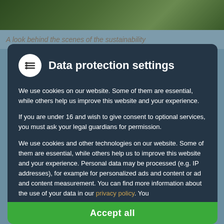[Figure (photo): Partial view of a nature/sustainability themed photograph with dark green foliage at the top of the page]
A look behind the scenes of the sustainability
Data protection settings
We use cookies on our website. Some of them are essential, while others help us improve this website and your experience.
If you are under 16 and wish to give consent to optional services, you must ask your legal guardians for permission.
We use cookies and other technologies on our website. Some of them are essential, while others help us to improve this website and your experience. Personal data may be processed (e.g. IP addresses), for example for personalized ads and content or ad and content measurement. You can find more information about the use of your data in our privacy policy. You
Essential
External media
Accept all